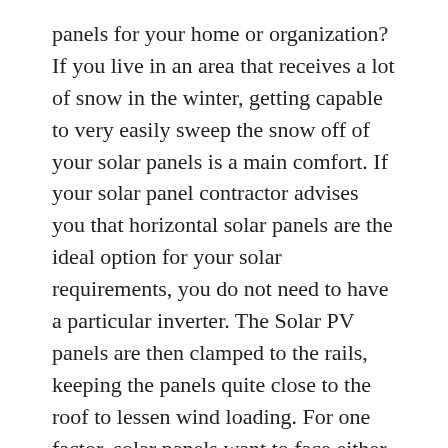panels for your home or organization? If you live in an area that receives a lot of snow in the winter, getting capable to very easily sweep the snow off of your solar panels is a main comfort. If your solar panel contractor advises you that horizontal solar panels are the ideal option for your solar requirements, you do not need to have a particular inverter. The Solar PV panels are then clamped to the rails, keeping the panels quite close to the roof to lessen wind loading. For one factor, solar panels want to face either south or west to obtain direct sunlight. Once you have bought your solar panel you will need to determine on a secure fixing method, our extensive range of permanent and non permanent solar mounting products consist of free of charge standing A-frames generally utilized with caravanners and motorhome customers to ground and roof mounting systems developed for massive scale PV arrays. You can set up solar panels on the ground of any home, and they'll produce power. The TerraGrif is a metal spring